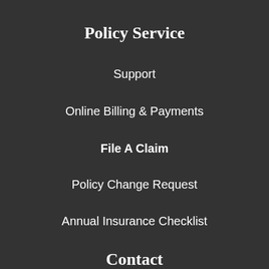Policy Service
Support
Online Billing & Payments
File A Claim
Policy Change Request
Annual Insurance Checklist
Contact